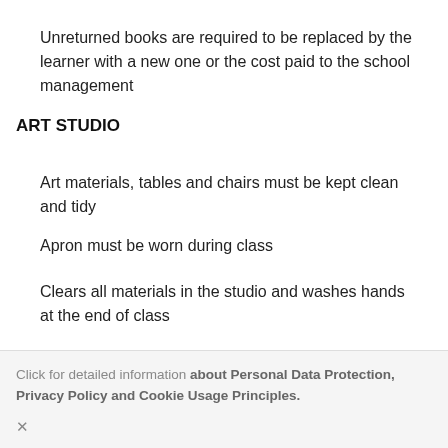Unreturned books are required to be replaced by the learner with a new one or the cost paid to the school management
ART STUDIO
Art materials, tables and chairs must be kept clean and tidy
Apron must be worn during class
Clears all materials in the studio and washes hands at the end of class
Abides by the rules set by the class teacher
Click for detailed information about Personal Data Protection, Privacy Policy and Cookie Usage Principles. ×